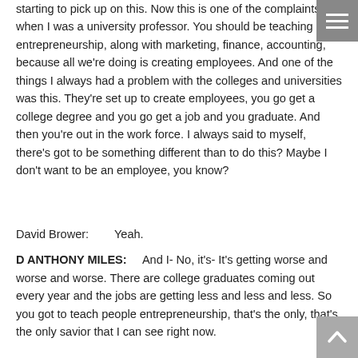starting to pick up on this. Now this is one of the complaints when I was a university professor. You should be teaching entrepreneurship, along with marketing, finance, accounting, because all we're doing is creating employees. And one of the things I always had a problem with the colleges and universities was this. They're set up to create employees, you go get a college degree and you go get a job and you graduate. And then you're out in the work force. I always said to myself, there's got to be something different than to do this? Maybe I don't want to be an employee, you know?
David Brower:        Yeah.
D ANTHONY MILES:      And I- No, it's- It's getting worse and worse and worse. There are college graduates coming out every year and the jobs are getting less and less and less. So you got to teach people entrepreneurship, that's the only, that's the only savior that I can see right now.